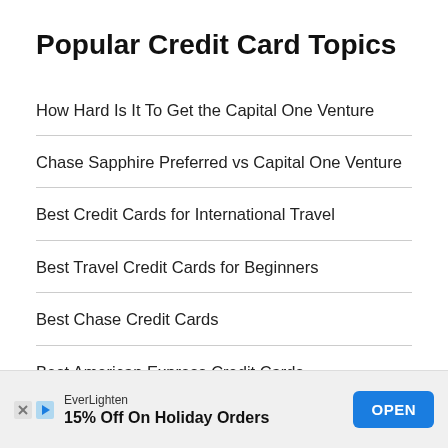Popular Credit Card Topics
How Hard Is It To Get the Capital One Venture
Chase Sapphire Preferred vs Capital One Venture
Best Credit Cards for International Travel
Best Travel Credit Cards for Beginners
Best Chase Credit Cards
Best American Express Credit Cards
EverLighten 15% Off On Holiday Orders OPEN